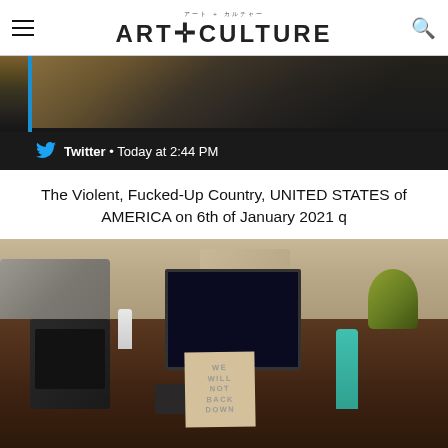ART+CULTURE (アート＋カルチャー)
[Figure (screenshot): Screenshot of a Twitter notification showing a keyboard and desk, with text 'Twitter • Today at 2:44 PM']
The Violent, Fucked-Up Country, UNITED STATES of AMERICA on 6th of January 2021 q
[Figure (photo): Photo of a cluttered office desk with a computer monitor, multi-line phone, keyboard, hand sanitizer, papers, and a handwritten sign reading 'WE WILL NOT BACK DOWN']